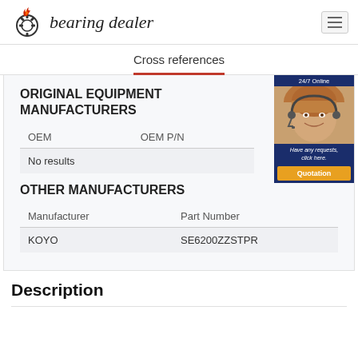bearing dealer
Cross references
ORIGINAL EQUIPMENT MANUFACTURERS
| OEM | OEM P/N |
| --- | --- |
| No results |  |
OTHER MANUFACTURERS
| Manufacturer | Part Number |
| --- | --- |
| KOYO | SE6200ZZSTPR |
[Figure (photo): Customer service representative with headset, 24/7 Online ad banner with Quotation button]
Description